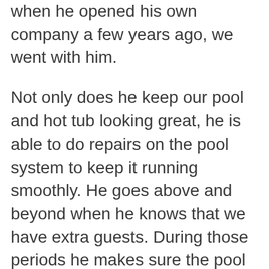when he opened his own company a few years ago, we went with him.
Not only does he keep our pool and hot tub looking great, he is able to do repairs on the pool system to keep it running smoothly. He goes above and beyond when he knows that we have extra guests. During those periods he makes sure the pool and hot tub stay clean and sanitary with the extra people using them.
He has always been very responsive to any pool or hot tub emergency we’ve had and he watches out for anything out of the ordinary when we aren’t in town.
My husband and I would definitely